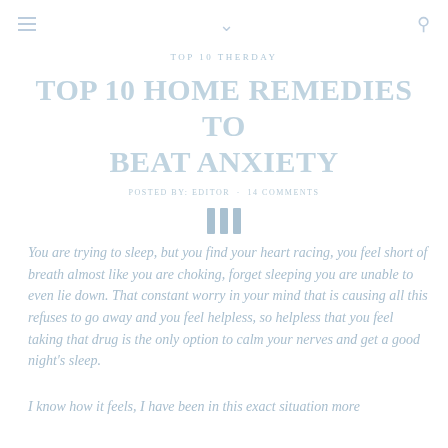≡  ∨  🔍
TOP 10 THERDAY
TOP 10 HOME REMEDIES TO BEAT ANXIETY
POSTED BY: EDITOR · 14 COMMENTS
You are trying to sleep, but you find your heart racing, you feel short of breath almost like you are choking, forget sleeping you are unable to even lie down. That constant worry in your mind that is causing all this refuses to go away and you feel helpless, so helpless that you feel taking that drug is the only option to calm your nerves and get a good night's sleep.
I know how it feels, I have been in this exact situation more